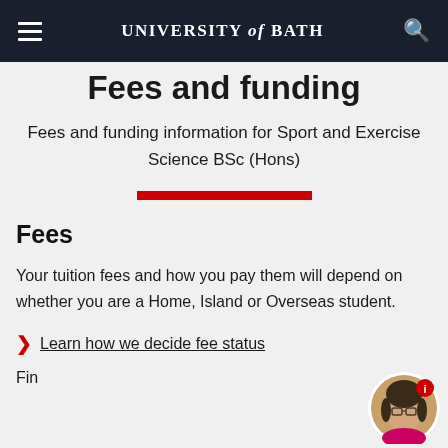UNIVERSITY of BATH
Fees and funding
Fees and funding information for Sport and Exercise Science BSc (Hons)
Fees
Your tuition fees and how you pay them will depend on whether you are a Home, Island or Overseas student.
Learn how we decide fee status